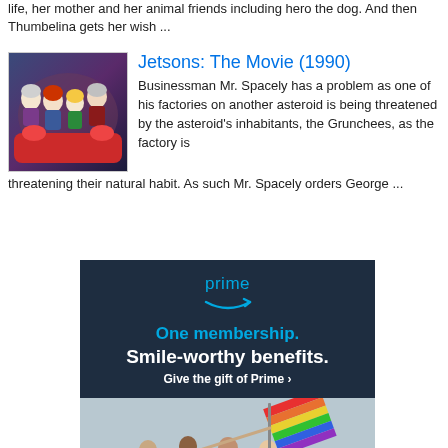life, her mother and her animal friends including hero the dog. And then Thumbelina gets her wish ...
Jetsons: The Movie (1990)
[Figure (illustration): Cartoon image from Jetsons: The Movie showing animated characters]
Businessman Mr. Spacely has a problem as one of his factories on another asteroid is being threatened by the asteroid's inhabitants, the Grunchees, as the factory is threatening their natural habit. As such Mr. Spacely orders George ...
[Figure (infographic): Amazon Prime advertisement banner: 'prime' logo with smile arrow, 'One membership. Smile-worthy benefits. Give the gift of Prime >' on dark navy background, below shows photo of people celebrating with rainbow flag]